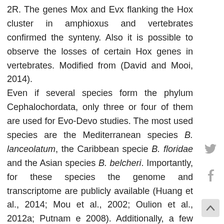2R. The genes Mox and Evx flanking the Hox cluster in amphioxus and vertebrates confirmed the synteny. Also it is possible to observe the losses of certain Hox genes in vertebrates. Modified from (David and Mooi, 2014). Even if several species form the phylum Cephalochordata, only three or four of them are used for Evo-Devo studies. The most used species are the Mediterranean species B. lanceolatum, the Caribbean specie B. floridae and the Asian species B. belcheri. Importantly, for these species the genome and transcriptome are publicly available (Huang et al., 2014; Mou et al., 2002; Oulion et al., 2012a; Putnam e 2008). Additionally, a few studies have also undertaken after the correct classification of different Asian species, so today we can find litera